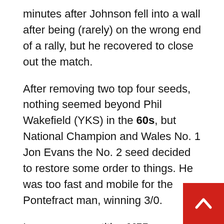minutes after Johnson fell into a wall after being (rarely) on the wrong end of a rally, but he recovered to close out the match.
After removing two top four seeds, nothing seemed beyond Phil Wakefield (YKS) in the 60s, but National Champion and Wales No. 1 Jon Evans the No. 2 seed decided to restore some order to things. He was too fast and mobile for the Pontefract man, winning 3/0.
In a very competitive M55 age group Mark Woodliffe (GLS) has seven British Opens, and has won the last three in this group. Eammon Price (HFD) has also won British Opens and was hoping to end that run. But Woodliffe was just too strong and controlled and took the title with beautiful squash in straight games. Coincidentally, Marks